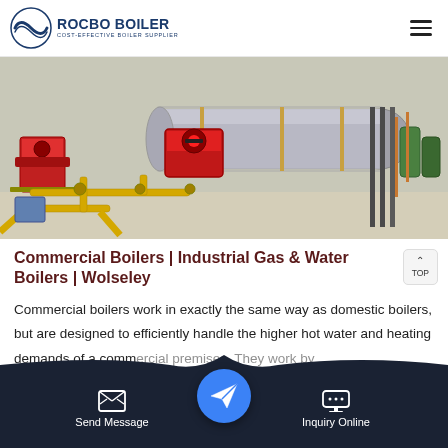[Figure (logo): Rocbo Boiler logo — circular wave icon with company name and tagline 'Cost-effective Boiler Supplier']
[Figure (photo): Industrial gas boiler installation showing large horizontal cylindrical boiler with red burners and yellow gas pipework in a clean facility]
Commercial Boilers | Industrial Gas & Water Boilers | Wolseley
Commercial boilers work in exactly the same way as domestic boilers, but are designed to efficiently handle the higher hot water and heating demands of a commercial premises. They work by burning natural gas to cre...
[Figure (infographic): Bottom navigation bar with Send Message button (document icon), central blue circular email/send icon (FAB), and Inquiry Online button (chat bubble icon) on dark navy background]